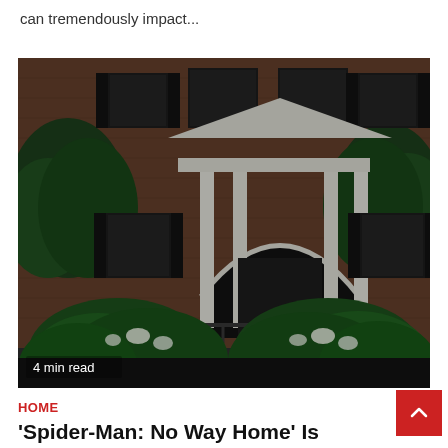can tremendously impact...
[Figure (photo): Photograph of a brick colonial-style house with a white arched portico entrance, black shutters, and lush green shrubbery in the foreground. A '4 min read' label appears in the lower left of the image.]
4 min read
HOME
'Spider-Man: No Way Home' Is Streaming at Last (but Not on